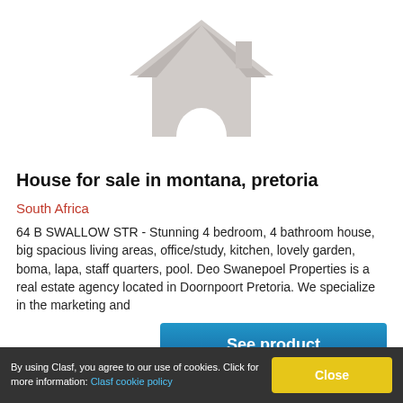[Figure (illustration): Placeholder house icon in light grey on white background]
House for sale in montana, pretoria
South Africa
64 B SWALLOW STR - Stunning 4 bedroom, 4 bathroom house, big spacious living areas, office/study, kitchen, lovely garden, boma, lapa, staff quarters, pool. Deo Swanepoel Properties is a real estate agency located in Doornpoort Pretoria. We specialize in the marketing and
See product
By using Clasf, you agree to our use of cookies. Click for more information: Clasf cookie policy